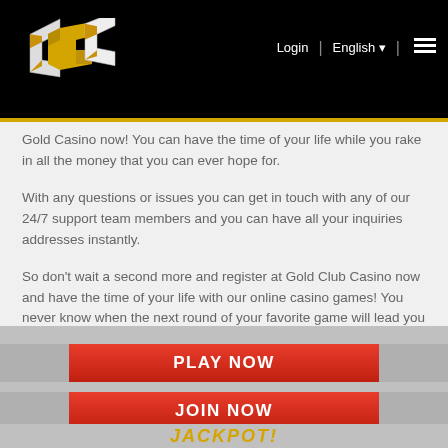[Figure (logo): CGC logo — stylized interlocking letters C, G, C in white and gold/yellow on black background]
Gold Casino now! You can have the time of your life while you rake in all the money that you can ever hope for.
With any questions or issues you can get in touch with any of our 24/7 support team members and you can have all your inquiries addresses instantly.
So don't wait a second more and register at Gold Club Casino now and have the time of your life with our online casino games! You never know when the next round of your favorite game will lead you to become our casino's next big winner!
PLAY NOW
JOIN NOW
JACKPOT!